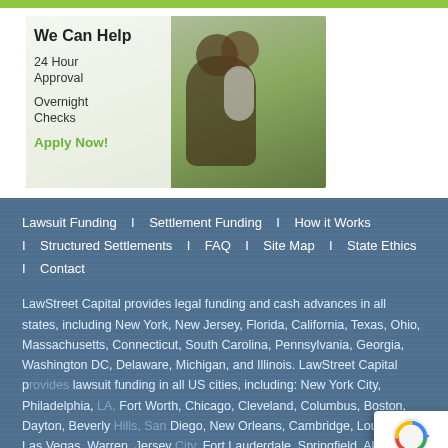[Figure (illustration): Advertisement banner for LawStreet Capital showing a man with a child on his shoulders. Text overlay reads: We Can Help, 24 Hour Approval, Overnight Checks, Apply Now!]
Lawsuit Funding   I   Settlement Funding   I   How it Works   I   Structured Settlements   I   FAQ   I   Site Map   I   State Ethics   I   Contact
LawStreet Capital provides legal funding and cash advances in all states, including New York, New Jersey, Florida, California, Texas, Ohio, Massachusetts, Connecticut, South Carolina, Pennsylvania, Georgia, Washington DC, Delaware, Michigan, and Illinois. LawStreet Capital provides lawsuit funding in all US cities, including: New York City, Philadelphia, Fort Worth, Chicago, Cleveland, Columbus, Boston, Dayton, Beverly Hills, San Diego, New Orleans, Cambridge, Louisiana, Las Vegas, Warren, Jersey City, Fort Lauderdale, Springfield, Akron, Worcester, Jacksonville, San Francisco,